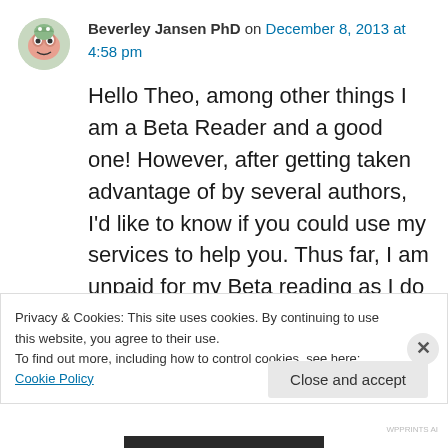Beverley Jansen PhD on December 8, 2013 at 4:58 pm
Hello Theo, among other things I am a Beta Reader and a good one! However, after getting taken advantage of by several authors, I'd like to know if you could use my services to help you. Thus far, I am unpaid for my Beta reading as I do it as a labour of love mainly and I am not expecting to change that suddenly…I am a Beta
Privacy & Cookies: This site uses cookies. By continuing to use this website, you agree to their use.
To find out more, including how to control cookies, see here: Cookie Policy
Close and accept